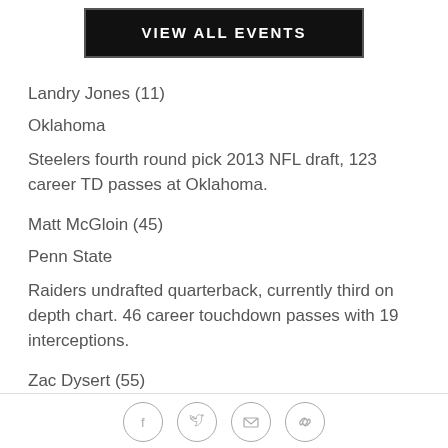[Figure (other): Black banner button with white bold text reading VIEW ALL EVENTS, with a border outline]
Landry Jones (11)
Oklahoma
Steelers fourth round pick 2013 NFL draft, 123 career TD passes at Oklahoma.
Matt McGloin (45)
Penn State
Raiders undrafted quarterback, currently third on depth chart. 46 career touchdown passes with 19 interceptions.
Zac Dysert (55)
[Figure (other): Social share icons row: Facebook, Twitter, Email, Link/chain icons in circles]